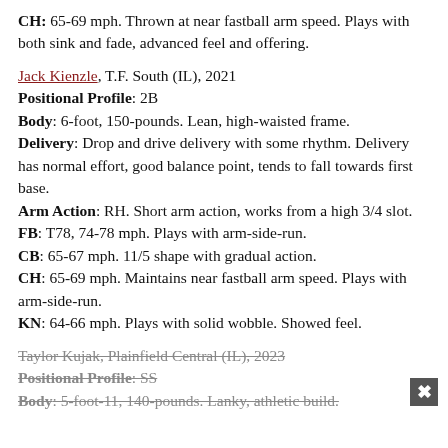CH: 65-69 mph. Thrown at near fastball arm speed. Plays with both sink and fade, advanced feel and offering.
Jack Kienzle, T.F. South (IL), 2021
Positional Profile: 2B
Body: 6-foot, 150-pounds. Lean, high-waisted frame.
Delivery: Drop and drive delivery with some rhythm. Delivery has normal effort, good balance point, tends to fall towards first base.
Arm Action: RH. Short arm action, works from a high 3/4 slot.
FB: T78, 74-78 mph. Plays with arm-side-run.
CB: 65-67 mph. 11/5 shape with gradual action.
CH: 65-69 mph. Maintains near fastball arm speed. Plays with arm-side-run.
KN: 64-66 mph. Plays with solid wobble. Showed feel.
Taylor Kujak, Plainfield Central (IL), 2023
Positional Profile: SS
Body: 5-foot-11, 140-pounds. Lanky, athletic build.